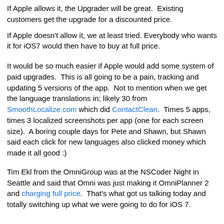If Apple allows it, the Upgrader will be great. Existing customers get the upgrade for a discounted price.
If Apple doesn't allow it, we at least tried. Everybody who wants it for iOS7 would then have to buy at full price.
It would be so much easier if Apple would add some system of paid upgrades. This is all going to be a pain, tracking and updating 5 versions of the app. Not to mention when we get the language translations in; likely 30 from SmoothLocalize.com which did ContactClean. Times 5 apps, times 3 localized screenshots per app (one for each screen size). A boring couple days for Pete and Shawn, but Shawn said each click for new languages also clicked money which made it all good :)
Tim Ekl from the OmniGroup was at the NSCoder Night in Seattle and said that Omni was just making it OmniPlanner 2 and charging full price. That's what got us talking today and totally switching up what we were going to do for iOS 7.